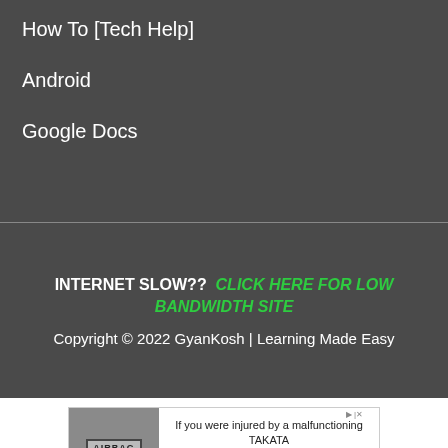How To [Tech Help]
Android
Google Docs
INTERNET SLOW?? CLICK HERE FOR LOW BANDWIDTH SITE
Copyright © 2022 GyanKosh | Learning Made Easy
[Figure (photo): Advertisement banner: airbag injury lawsuit for TAKATA airbag malfunction, with Learn More link and Epic logo]